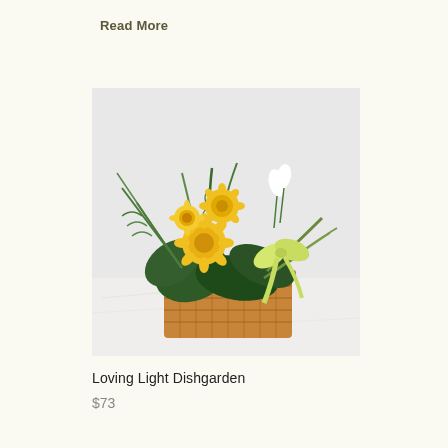Read More
[Figure (photo): A floral dishgarden arrangement with yellow chrysanthemums, palm leaves, peace lily, and spider plant in a wicker basket with a yellow ribbon bow, displayed on a white marble surface against a light gray background.]
Loving Light Dishgarden
$73